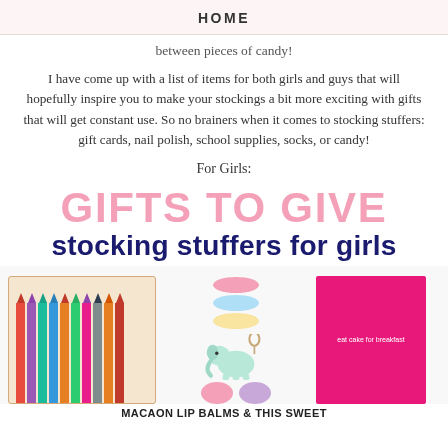HOME
between pieces of candy!
I have come up with a list of items for both girls and guys that will hopefully inspire you to make your stockings a bit more exciting with gifts that will get constant use. So no brainers when it comes to stocking stuffers: gift cards, nail polish, school supplies, socks, or candy!
For Girls:
[Figure (illustration): Promotional graphic with large pink text 'GIFTS TO GIVE' and dark navy cursive text 'stocking stuffers for girls', with product images including a box of pencils, macaron lip balms, elephant keychain, and a pink notebook]
MACAON LIP BALMS & THIS SWEET